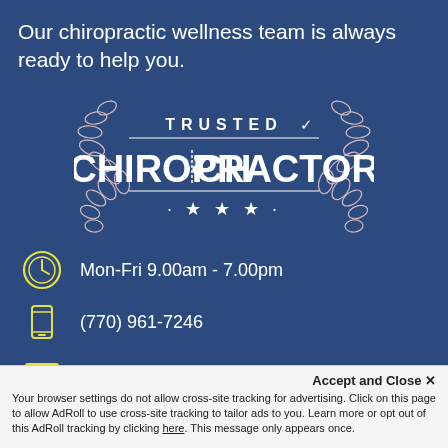Our chiropractic wellness team is always ready to help you.
[Figure (logo): Trusted Chiropractor badge/seal with laurel wreath, stars, and checkmark]
Mon-Fri 9.00am - 7.00pm
(770) 961-7246
info@arrowheadclinics.com
Accept and Close ✕
Your browser settings do not allow cross-site tracking for advertising. Click on this page to allow AdRoll to use cross-site tracking to tailor ads to you. Learn more or opt out of this AdRoll tracking by clicking here. This message only appears once.